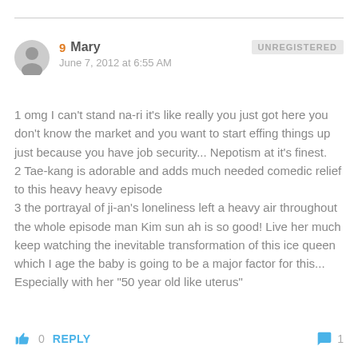9 Mary · June 7, 2012 at 6:55 AM · UNREGISTERED
1 omg I can't stand na-ri it's like really you just got here you don't know the market and you want to start effing things up just because you have job security... Nepotism at it's finest.
2 Tae-kang is adorable and adds much needed comedic relief to this heavy heavy episode
3 the portrayal of ji-an's loneliness left a heavy air throughout the whole episode man Kim sun ah is so good! Live her much keep watching the inevitable transformation of this ice queen which I age the baby is going to be a major factor for this... Especially with her "50 year old like uterus"
0  REPLY  1